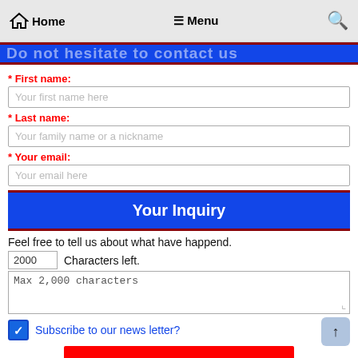Home  Menu  🔍
[Figure (other): Blue banner with partial text (Do not hesitate to contact us)]
* First name:
Your first name here
* Last name:
Your family name or a nickname
* Your email:
Your email here
Your Inquiry
Feel free to tell us about what have happend.
2000  Characters left.
Max 2,000 characters
Subscribe to our news letter?